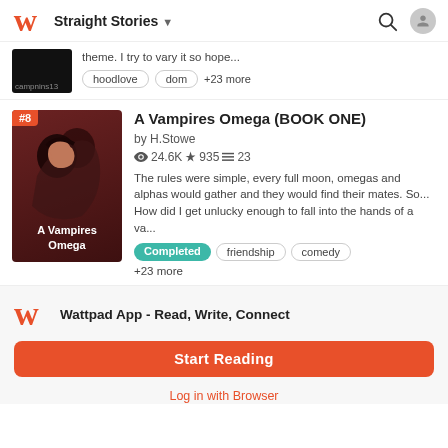Straight Stories
theme. I try to vary it so hope...
hoodlove   dom   +23 more
A Vampires Omega (BOOK ONE)
by H.Stowe
24.6K ★935 ≡23
The rules were simple, every full moon, omegas and alphas would gather and they would find their mates. So... How did I get unlucky enough to fall into the hands of a va...
Completed   friendship   comedy   +23 more
Wattpad App - Read, Write, Connect
Start Reading
Log in with Browser